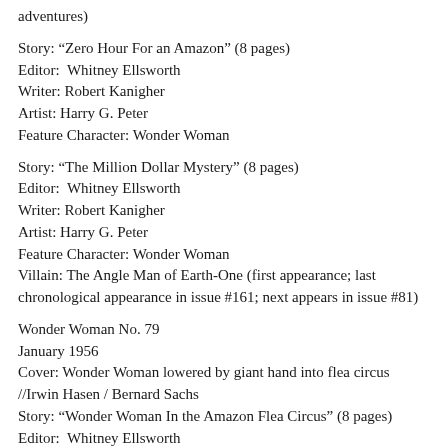adventures)
Story: “Zero Hour For an Amazon” (8 pages)
Editor:  Whitney Ellsworth
Writer: Robert Kanigher
Artist: Harry G. Peter
Feature Character: Wonder Woman
Story: “The Million Dollar Mystery” (8 pages)
Editor:  Whitney Ellsworth
Writer: Robert Kanigher
Artist: Harry G. Peter
Feature Character: Wonder Woman
Villain: The Angle Man of Earth-One (first appearance; last chronological appearance in issue #161; next appears in issue #81)
Wonder Woman No. 79
January 1956
Cover: Wonder Woman lowered by giant hand into flea circus
//Irwin Hasen / Bernard Sachs
Story: “Wonder Woman In the Amazon Flea Circus” (8 pages)
Editor:  Whitney Ellsworth
Writer: Robert Kanigher
Artist: Harry G. Peter
Feature Character: Wonder Woman
Villain: Spider (first appearance; next appears in ...)